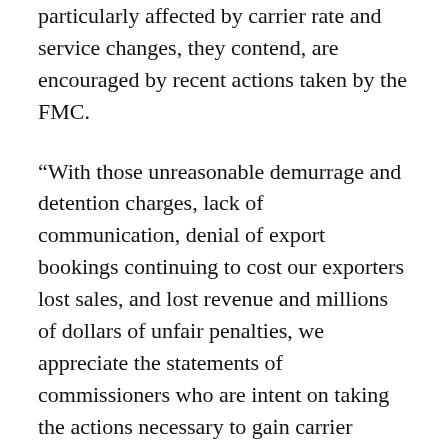particularly affected by carrier rate and service changes, they contend, are encouraged by recent actions taken by the FMC.
“With those unreasonable demurrage and detention charges, lack of communication, denial of export bookings continuing to cost our exporters lost sales, and lost revenue and millions of dollars of unfair penalties, we appreciate the statements of commissioners who are intent on taking the actions necessary to gain carrier compliance with Shipping Act mandates,” Peter Friedmann, Executive Director of the Agriculture Transportation Coalition, told FreightWaves.
November exports out of the Port of Los